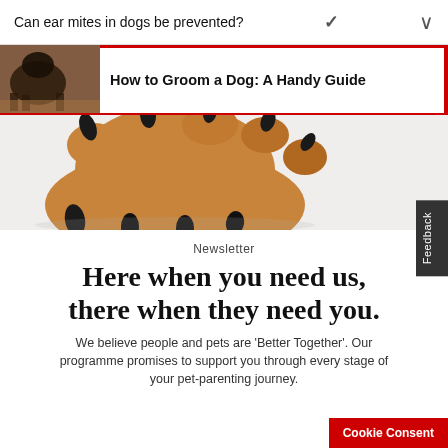Can ear mites in dogs be prevented?
How to Groom a Dog: A Handy Guide
[Figure (photo): Close-up of a dog paw with dark nails against a light background]
Newsletter
Here when you need us, there when they need you.
We believe people and pets are 'Better Together'. Our programme promises to support you through every stage of your pet-parenting journey.